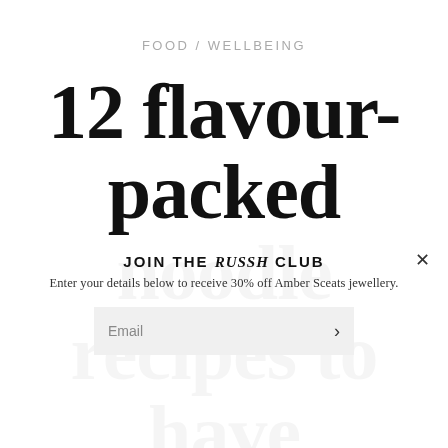FOOD / WELLBEING
12 flavour-packed noodle recipes to have up your sleeve
JOIN THE RUSSH CLUB
Enter your details below to receive 30% off Amber Sceats jewellery.
Email